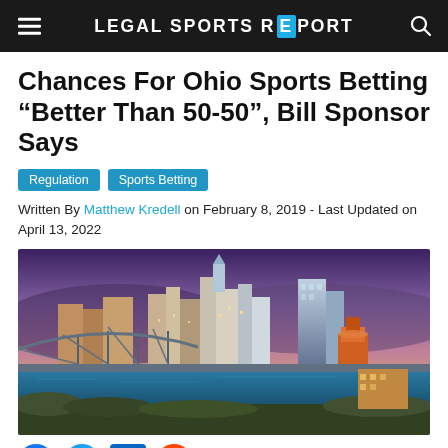LEGAL SPORTS REPORT
Chances For Ohio Sports Betting “Better Than 50-50”, Bill Sponsor Says
Regulation
Sports Betting
Written By Matthew Kredell on February 8, 2019 - Last Updated on April 13, 2022
[Figure (photo): Aerial/skyline view of Cincinnati, Ohio at dusk with bridges over the Ohio River, downtown skyscrapers illuminated against a purple-pink sky]
[Figure (other): Social media share icons: Facebook, Twitter, LinkedIn, Reddit]